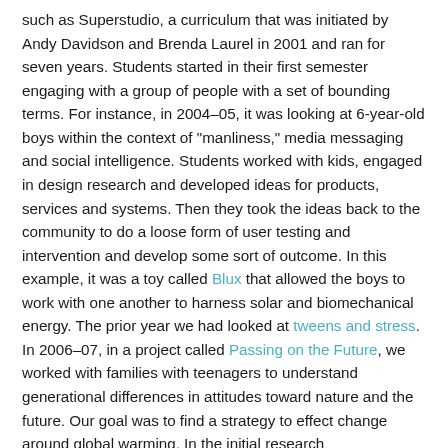such as Superstudio, a curriculum that was initiated by Andy Davidson and Brenda Laurel in 2001 and ran for seven years. Students started in their first semester engaging with a group of people with a set of bounding terms. For instance, in 2004–05, it was looking at 6-year-old boys within the context of "manliness," media messaging and social intelligence. Students worked with kids, engaged in design research and developed ideas for products, services and systems. Then they took the ideas back to the community to do a loose form of user testing and intervention and develop some sort of outcome. In this example, it was a toy called Blux that allowed the boys to work with one another to harness solar and biomechanical energy. The prior year we had looked at tweens and stress. In 2006–07, in a project called Passing on the Future, we worked with families with teenagers to understand generational differences in attitudes toward nature and the future. Our goal was to find a strategy to effect change around global warming. In the initial research